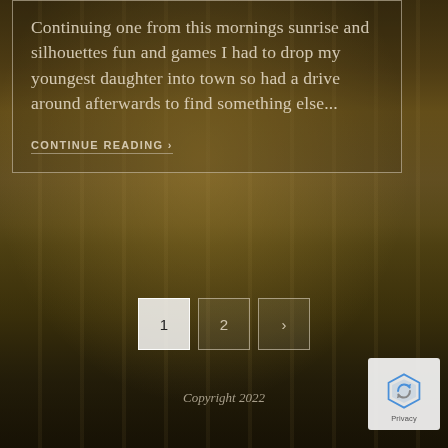Continuing one from this mornings sunrise and silhouettes fun and games I had to drop my youngest daughter into town so had a drive around afterwards to find something else...
CONTINUE READING ›
1
2
›
Copyright 2022